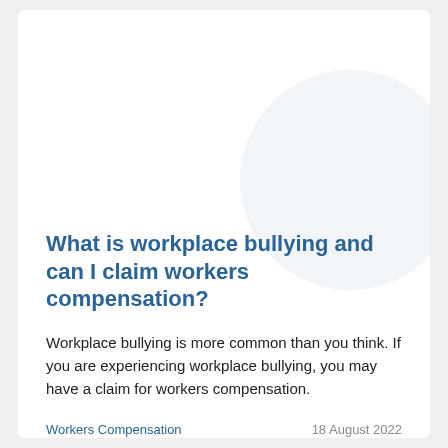What is workplace bullying and can I claim workers compensation?
Workplace bullying is more common than you think. If you are experiencing workplace bullying, you may have a claim for workers compensation.
Workers Compensation   18 August 2022